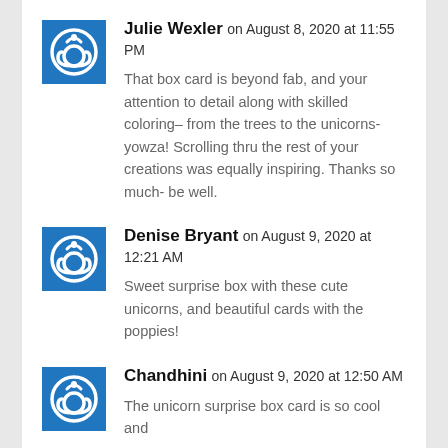Julie Wexler on August 8, 2020 at 11:55 PM
That box card is beyond fab, and your attention to detail along with skilled coloring– from the trees to the unicorns- yowza! Scrolling thru the rest of your creations was equally inspiring. Thanks so much- be well.
Denise Bryant on August 9, 2020 at 12:21 AM
Sweet surprise box with these cute unicorns, and beautiful cards with the poppies!
Chandhini on August 9, 2020 at 12:50 AM
The unicorn surprise box card is so cool and